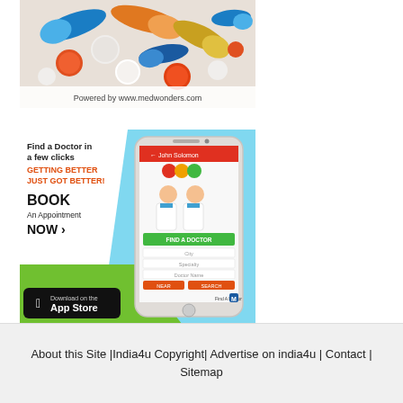[Figure (photo): Photo of colorful pills and capsules (orange, blue, white, yellow) scattered on a surface with text 'Powered by www.medwonders.com' at the bottom]
[Figure (infographic): Advertisement banner: 'Find a Doctor in a few clicks GETTING BETTER JUST GOT BETTER! BOOK An Appointment NOW >' with a smartphone showing a doctor-finder app, green and blue background, Apple App Store download button]
About this Site | India4u Copyright | Advertise on india4u | Contact | Sitemap